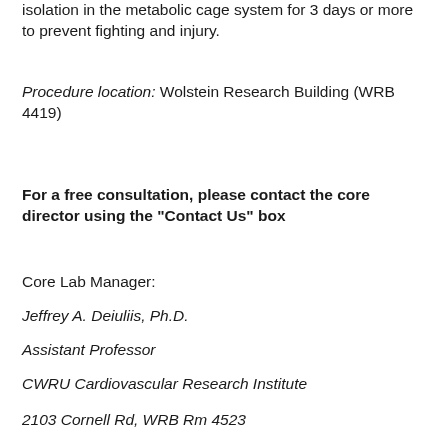isolation in the metabolic cage system for 3 days or more to prevent fighting and injury.
Procedure location: Wolstein Research Building (WRB 4419)
For a free consultation, please contact the core director using the "Contact Us" box
Core Lab Manager:
Jeffrey A. Deiuliis, Ph.D.
Assistant Professor
CWRU Cardiovascular Research Institute
2103 Cornell Rd, WRB Rm 4523